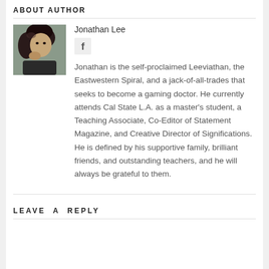ABOUT AUTHOR
[Figure (photo): Author photo of Jonathan Lee, a young person with dark hair posing with hand near face]
Jonathan Lee
[Figure (other): Facebook social icon (f)]
Jonathan is the self-proclaimed Leeviathan, the Eastwestern Spiral, and a jack-of-all-trades that seeks to become a gaming doctor. He currently attends Cal State L.A. as a master's student, a Teaching Associate, Co-Editor of Statement Magazine, and Creative Director of Significations. He is defined by his supportive family, brilliant friends, and outstanding teachers, and he will always be grateful to them.
LEAVE A REPLY